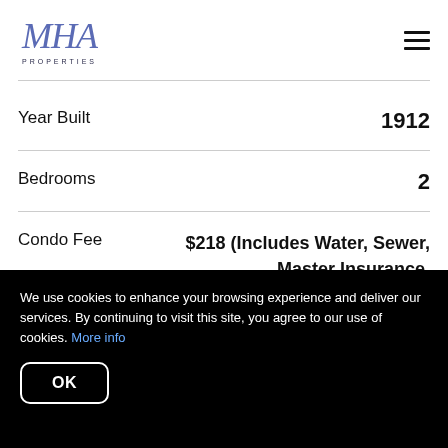[Figure (logo): MHA Properties logo with stylized script initials and 'PROPERTIES' text below]
| Property Detail | Value |
| --- | --- |
| Year Built | 1912 |
| Bedrooms | 2 |
| Condo Fee | $218 (Includes Water, Sewer, Master Insurance, Exterior Maintenance, and |
We use cookies to enhance your browsing experience and deliver our services. By continuing to visit this site, you agree to our use of cookies. More info
OK